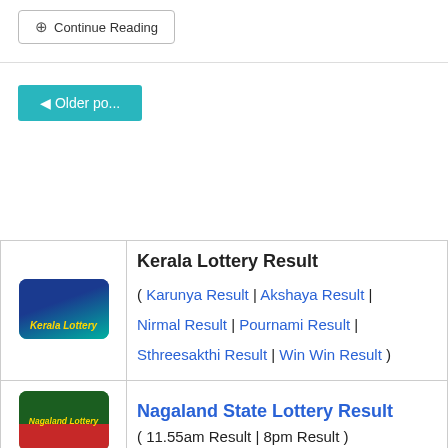⊕ Continue Reading
◄ Older po...
| Kerala Lottery logo | Kerala Lottery Result ( Karunya Result | Akshaya Result | Nirmal Result | Pournami Result | Sthreesakthi Result | Win Win Result ) |
| Nagaland Lottery logo | Nagaland State Lottery Result ( 11.55am Result | 8pm Result ) |